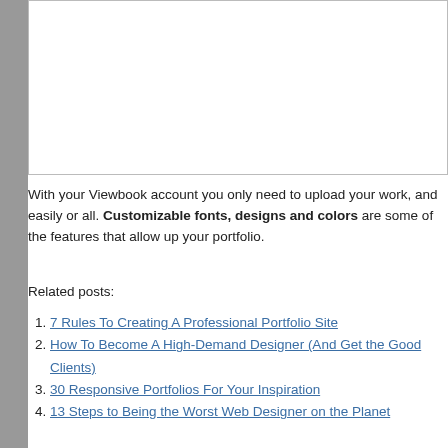[Figure (other): White rectangular image placeholder with border, partially visible at top of page]
With your Viewbook account you only need to upload your work, and easily organize it all. Customizable fonts, designs and colors are some of the features that allow you to jazz up your portfolio.
Related posts:
7 Rules To Creating A Professional Portfolio Site
How To Become A High-Demand Designer (And Get the Good Clients)
30 Responsive Portfolios For Your Inspiration
13 Steps to Being the Worst Web Designer on the Planet